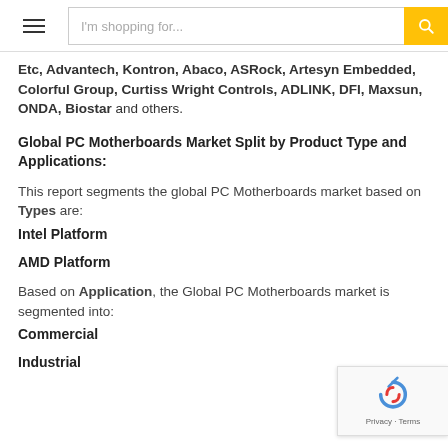I'm shopping for...
Etc, Advantech, Kontron, Abaco, ASRock, Artesyn Embedded, Colorful Group, Curtiss Wright Controls, ADLINK, DFI, Maxsun, ONDA, Biostar and others.
Global PC Motherboards Market Split by Product Type and Applications:
This report segments the global PC Motherboards market based on Types are:
Intel Platform
AMD Platform
Based on Application, the Global PC Motherboards market is segmented into:
Commercial
Industrial